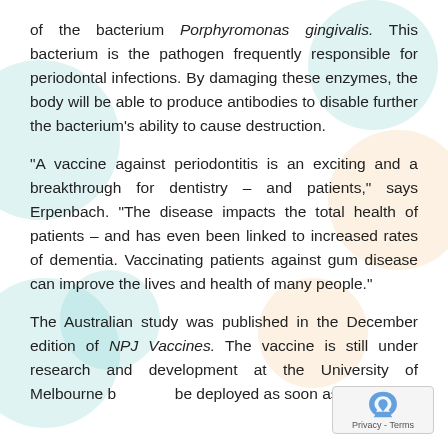of the bacterium Porphyromonas gingivalis. This bacterium is the pathogen frequently responsible for periodontal infections. By damaging these enzymes, the body will be able to produce antibodies to disable further the bacterium's ability to cause destruction.
“A vaccine against periodontitis is an exciting and a breakthrough for dentistry – and patients,” says Erpenbach. “The disease impacts the total health of patients – and has even been linked to increased rates of dementia. Vaccinating patients against gum disease can improve the lives and health of many people.”
The Australian study was published in the December edition of NPJ Vaccines. The vaccine is still under research and development at the University of Melbourne but could be deployed as soon as 2018.